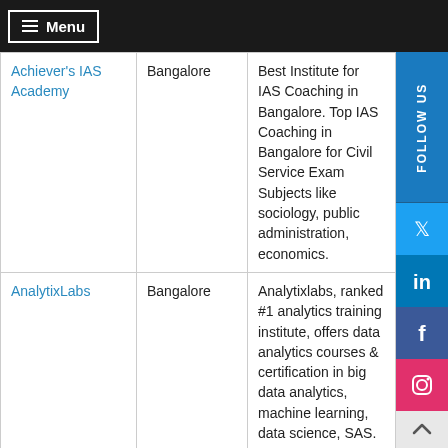Menu
| Institute | Location | Description |
| --- | --- | --- |
| Achiever's IAS Academy | Bangalore | Best Institute for IAS Coaching in Bangalore. Top IAS Coaching in Bangalore for Civil Service Exam Subjects like sociology, public administration, economics. |
| AnalytixLabs | Bangalore | Analytixlabs, ranked #1 analytics training institute, offers data analytics courses & certification in big data analytics, machine learning, data science, SAS. |
| ICAT College | Bangalore | ICAT is a leading... |